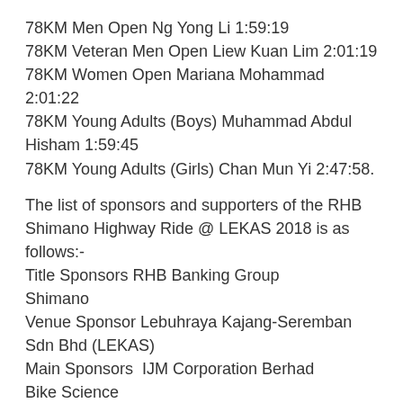78KM Men Open Ng Yong Li 1:59:19
78KM Veteran Men Open Liew Kuan Lim 2:01:19
78KM Women Open Mariana Mohammad 2:01:22
78KM Young Adults (Boys) Muhammad Abdul Hisham 1:59:45
78KM Young Adults (Girls) Chan Mun Yi 2:47:58.
The list of sponsors and supporters of the RHB Shimano Highway Ride @ LEKAS 2018 is as follows:-
Title Sponsors RHB Banking Group
Shimano
Venue Sponsor Lebuhraya Kajang-Seremban Sdn Bhd (LEKAS)
Main Sponsors  IJM Corporation Berhad
Bike Science
IJM Land Berhad